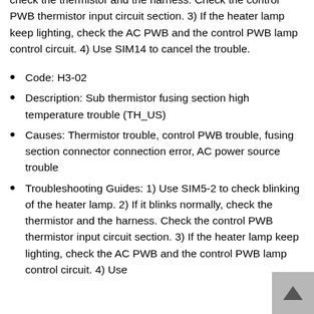check the thermistor and the harness. Check the control PWB thermistor input circuit section. 3) If the heater lamp keep lighting, check the AC PWB and the control PWB lamp control circuit. 4) Use SIM14 to cancel the trouble.
Code: H3-02
Description: Sub thermistor fusing section high temperature trouble (TH_US)
Causes: Thermistor trouble, control PWB trouble, fusing section connector connection error, AC power source trouble
Troubleshooting Guides: 1) Use SIM5-2 to check blinking of the heater lamp. 2) If it blinks normally, check the thermistor and the harness. Check the control PWB thermistor input circuit section. 3) If the heater lamp keep lighting, check the AC PWB and the control PWB lamp control circuit. 4) Use